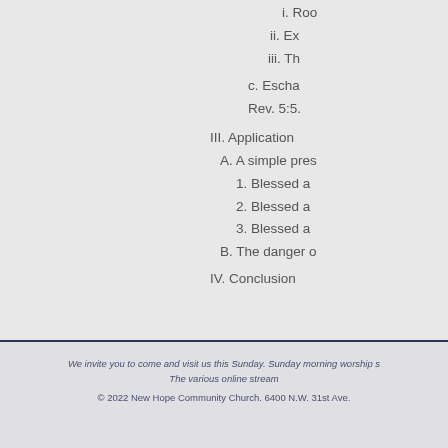i. Roo
ii. Ex
iii. Th
c. Escha
Rev. 5:5.
III. Application
A. A simple pres
1. Blessed a
2. Blessed a
3. Blessed a
B. The danger o
IV. Conclusion
We invite you to come and visit us this Sunday. Sunday morning worship s The various online stream © 2022 New Hope Community Church. 6400 N.W. 31st Ave.